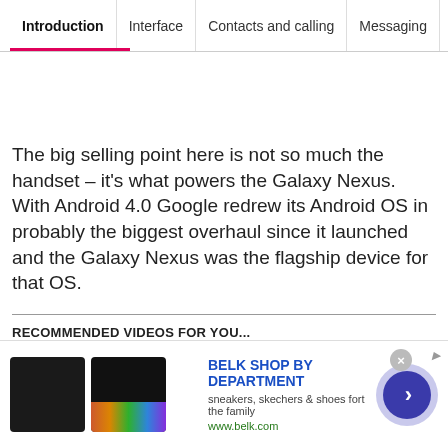Introduction | Interface | Contacts and calling | Messaging
The big selling point here is not so much the handset – it's what powers the Galaxy Nexus. With Android 4.0 Google redrew its Android OS in probably the biggest overhaul since it launched and the Galaxy Nexus was the flagship device for that OS.
RECOMMENDED VIDEOS FOR YOU...
[Figure (screenshot): Advertisement banner for Belk Shop by Department featuring shoes, text 'sneakers, skechers & shoes for the family', URL www.belk.com, and a navigation arrow circle.]